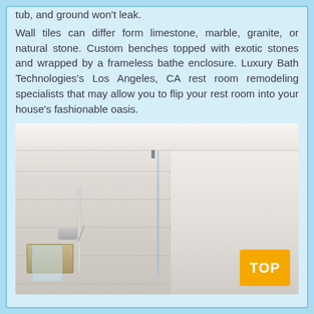tub, and ground won't leak.
Wall tiles can differ form limestone, marble, granite, or natural stone. Custom benches topped with exotic stones and wrapped by a frameless bathe enclosure. Luxury Bath Technologies's Los Angeles, CA rest room remodeling specialists that may allow you to flip your rest room into your house's fashionable oasis.
[Figure (photo): Photograph of a modern bathroom shower with a frameless glass panel, a handheld shower head on a bar, light-colored tile walls, and a built-in niche. A 'TOP' button overlay appears in the bottom right corner.]